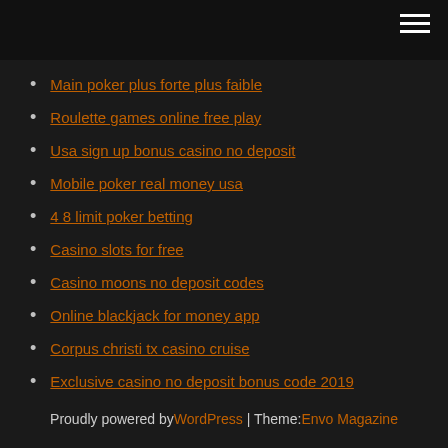Main poker plus forte plus faible
Roulette games online free play
Usa sign up bonus casino no deposit
Mobile poker real money usa
4 8 limit poker betting
Casino slots for free
Casino moons no deposit codes
Online blackjack for money app
Corpus christi tx casino cruise
Exclusive casino no deposit bonus code 2019
Theeschenkerij het oude slot heemstede
Proudly powered by WordPress | Theme: Envo Magazine